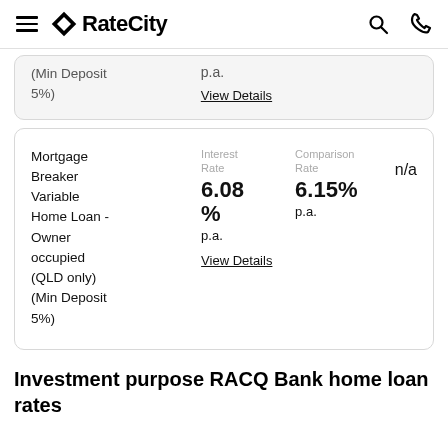RateCity
(Min Deposit 5%)
p.a.
View Details
Mortgage Breaker Variable Home Loan - Owner occupied (QLD only) (Min Deposit 5%)
Interest Rate
6.08 %
p.a.
View Details
Comparison Rate
6.15% p.a.
n/a
Investment purpose RACQ Bank home loan rates